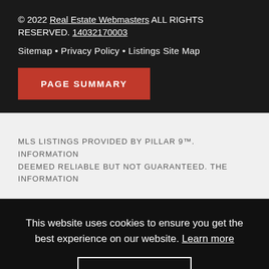© 2022 Real Estate Webmasters ALL RIGHTS RESERVED. 14032170003
Sitemap • Privacy Policy • Listings Site Map
PAGE SUMMARY
MLS LISTINGS PROVIDED BY PILLAR 9™. INFORMATION DEEMED RELIABLE BUT NOT GUARANTEED. THE INFORMATION
This website uses cookies to ensure you get the best experience on our website. Learn more
GOT IT!